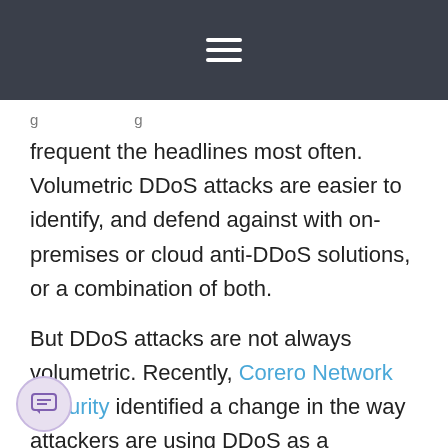≡
frequent the headlines most often. Volumetric DDoS attacks are easier to identify, and defend against with on-premises or cloud anti-DDoS solutions, or a combination of both.
But DDoS attacks are not always volumetric. Recently, Corero Network Security identified a change in the way attackers are using DDoS as a mechanism to target corporate enterprises, hosting providers, and Internet service providers: not only they using brute force multi-vector DDoS attacks, but they have also started to implement